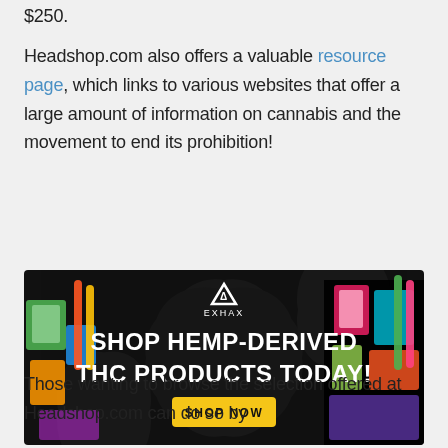$250.
Headshop.com also offers a valuable resource page, which links to various websites that offer a large amount of information on cannabis and the movement to end its prohibition!
[Figure (photo): Advertisement banner for ExHax: 'SHOP HEMP-DERIVED THC PRODUCTS TODAY!' with a 'SHOP NOW' yellow button, featuring various cannabis products on a dark background with hemp leaf silhouettes.]
Those wanting to browse the selection offered at Headshop.com can do so by